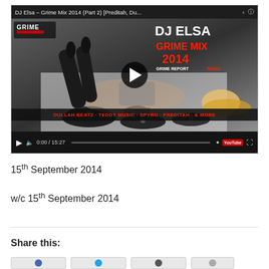[Figure (screenshot): YouTube video embed showing DJ Elsa – Grime Mix 2014 (Part 2) [Preditah, Du... with a play button overlay. The thumbnail shows a woman lying on floor with vinyl records. Right side text reads DJ ELSA GRIME MIX 2014 and GRIME REPORT RADIO. Bottom banner reads DULLAH BEATZ - TEDDY MUSIC - SPYRO - PREDITAH - & MORE. Video timestamp shows 0:00 / 15:27.]
15th September 2014
w/c 15th September 2014
Share this: